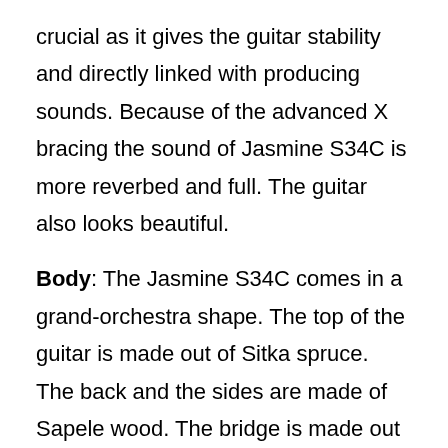crucial as it gives the guitar stability and directly linked with producing sounds. Because of the advanced X bracing the sound of Jasmine S34C is more reverbed and full. The guitar also looks beautiful.
Body: The Jasmine S34C comes in a grand-orchestra shape. The top of the guitar is made out of Sitka spruce. The back and the sides are made of Sapele wood. The bridge is made out of Rosewood. Saddle and bridge pins are from synthetic bones. Last but not least, it comes with a glossy finish.
Neck: The neck is made out of Nato wood. There are 20 frets on the fingerboard, and the scale length is 25.5". The neck also has a glossy finish to it. The